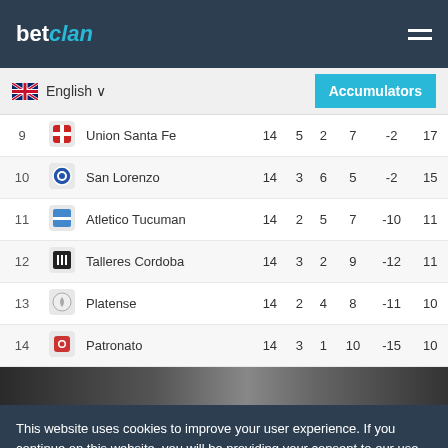betclan
English
Accumulators
| # | Team |  | P | W | D | L | GD | Pts |
| --- | --- | --- | --- | --- | --- | --- | --- | --- |
| 9 | Union Santa Fe |  | 14 | 5 | 2 | 7 | -2 | 17 |
| 10 | San Lorenzo |  | 14 | 3 | 6 | 5 | -2 | 15 |
| 11 | Atletico Tucuman |  | 14 | 2 | 5 | 7 | -10 | 11 |
| 12 | Talleres Cordoba |  | 14 | 3 | 2 | 9 | -12 | 11 |
| 13 | Platense |  | 14 | 2 | 4 | 8 | -11 | 10 |
| 14 | Patronato |  | 14 | 3 | 1 | 10 | -15 | 10 |
This website uses cookies to improve your user experience. If you continue on this website, you will be providing your consent to our use of cookies.
Info
Accept